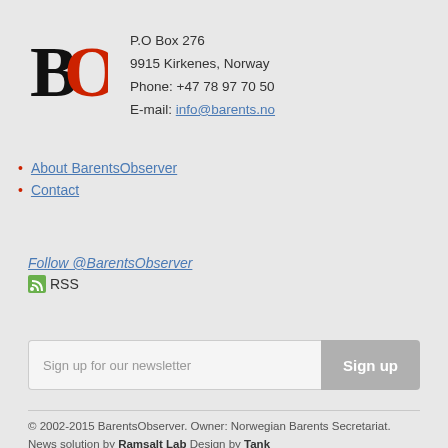[Figure (logo): BarentsObserver logo — bold black B and red O letters]
P.O Box 276
9915 Kirkenes, Norway
Phone: +47 78 97 70 50
E-mail: info@barents.no
About BarentsObserver
Contact
Follow @BarentsObserver
RSS-icon RSS
Sign up for our newsletter
© 2002-2015 BarentsObserver. Owner: Norwegian Barents Secretariat. News solution by Ramsalt Lab Design by Tank